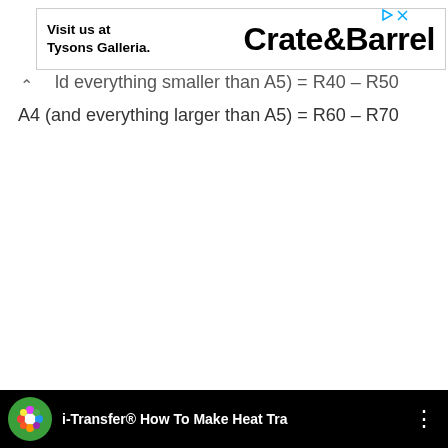[Figure (other): Advertisement banner for Crate&Barrel showing 'Visit us at Tysons Galleria.' on the left and 'Crate&Barrel' logo on the right, with a border and ad icons (triangle play and X) in the top right corner.]
ld everything smaller than A5) = R40 – R50
A4 (and everything larger than A5) = R60 – R70
[Figure (other): Bottom video bar with black background showing a green circular icon on the left, followed by text 'i-Transfer® How To Make Heat Tra' and a three-dot menu icon on the right.]